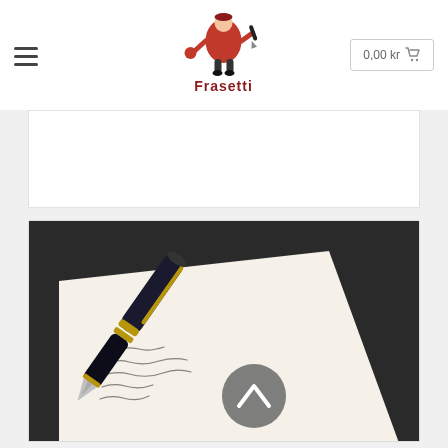[Figure (logo): Frasetti brand logo: cartoon figure with pen, company name 'Frasetti' in dark red bold text]
0,00 kr
[Figure (photo): Photograph of a black and gold fountain pen resting on white paper with handwritten cursive text, dark background, with a grey circular scroll-up arrow button overlay]